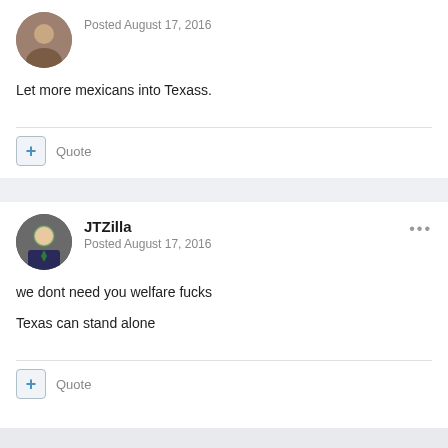Posted August 17, 2016
Let more mexicans into Texass.
Quote
JTZilla
Posted August 17, 2016
we dont need you welfare fucks
Texas can stand alone
Quote